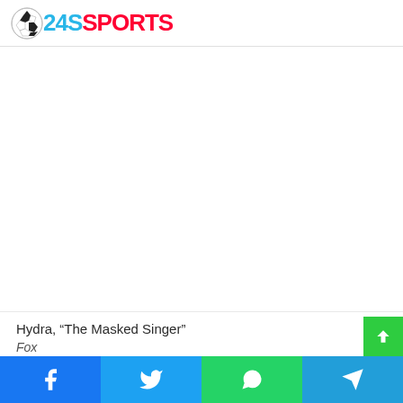24SSPORTS
[Figure (other): Advertisement placeholder area, blank white space]
Hydra, “The Masked Singer”
Fox
Social share bar: Facebook, Twitter, WhatsApp, Telegram